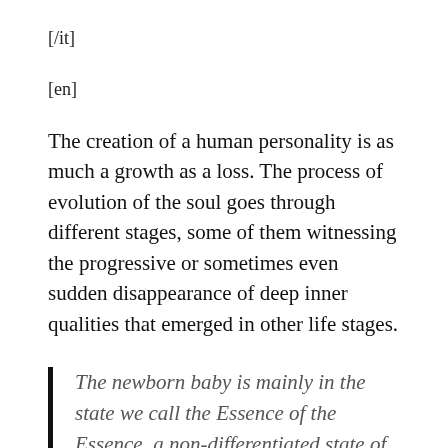[/it]
[en]
The creation of a human personality is as much a growth as a loss. The process of evolution of the soul goes through different stages, some of them witnessing the progressive or sometimes even sudden disappearance of deep inner qualities that emerged in other life stages.
The newborn baby is mainly in the state we call the Essence of the Essence, a non-differentiated state of unity. At about three months, the baby is in a “merged” state, which is